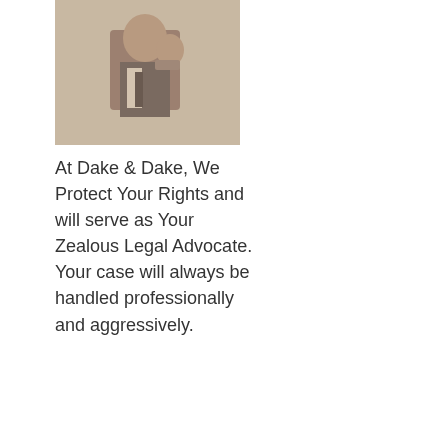[Figure (photo): Black and white portrait photo of a man in a suit and tie, with his fist raised near his face]
At Dake & Dake, We Protect Your Rights and will serve as Your Zealous Legal Advocate. Your case will always be handled professionally and aggressively.